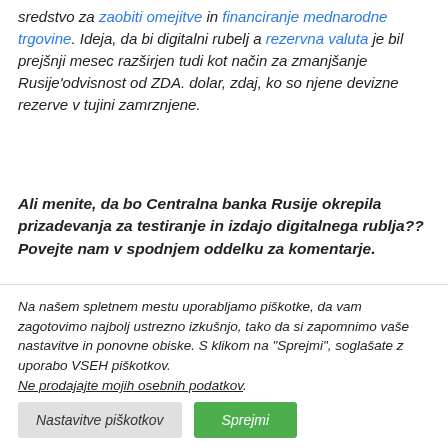sredstvo za zaobiti omejitve in financiranje mednarodne trgovine. Ideja, da bi digitalni rubelj a rezervna valuta je bil prejšnji mesec razširjen tudi kot način za zmanjšanje Rusije’odvisnost od ZDA. dolar, zdaj, ko so njene devizne rezerve v tujini zamrznjene.
Ali menite, da bo Centralna banka Rusije okrepila prizadevanja za testiranje in izdajo digitalnega rublja?? Povejte nam v spodnjem oddelku za komentarje.
[Figure (other): Row of social media share buttons (icons) in various colors including blue, dark blue, light blue, teal, red/pink, dark navy, orange, blue, and orange-red.]
Na našem spletnem mestu uporabljamo piškotke, da vam zagotovimo najbolj ustrezno izkušnjo, tako da si zapomnimo vaše nastavitve in ponovne obiske. S klikom na "Sprejmi", soglašate z uporabo VSEH piškotkov.
Ne prodajajte mojih osebnih podatkov.